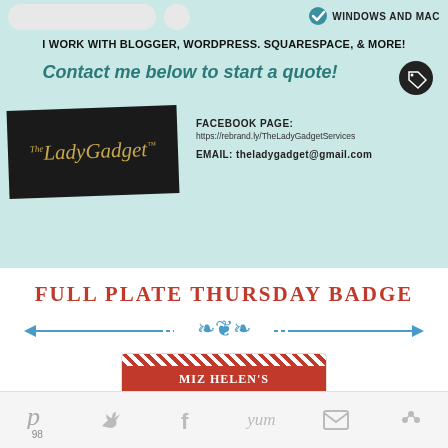[Figure (infographic): Lady Gadget advertising banner with teal background. Shows 'WINDOWS AND MAC' checkmark, 'I WORK WITH BLOGGER, WORDPRESS, SQUARESPACE, & MORE!', 'Contact me below to start a quote!', Lady Gadget logo in black script, Facebook page URL and email address.]
FULL PLATE THURSDAY BADGE
[Figure (illustration): Blue decorative ornamental divider with arrows and scrollwork]
[Figure (photo): Miz Helen's Full Plate Thursday badge image, partially visible, showing red plate with text MIZ HELEN'S FULL PLATE THURSDAY]
[Figure (infographic): Social sharing bar with Pinterest (98), Twitter, Facebook, Yummly, Email, and More share icons at bottom of page]